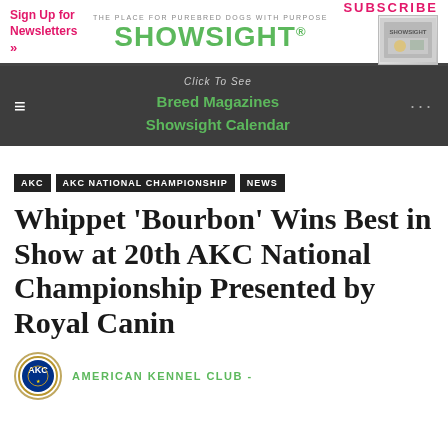Sign Up for Newsletters »
THE PLACE FOR PUREBRED DOGS WITH PURPOSE — SHOWSIGHT®
SUBSCRIBE
Click To See — Breed Magazines — Showsight Calendar
AKC
AKC NATIONAL CHAMPIONSHIP
NEWS
Whippet 'Bourbon' Wins Best in Show at 20th AKC National Championship Presented by Royal Canin
AMERICAN KENNEL CLUB -